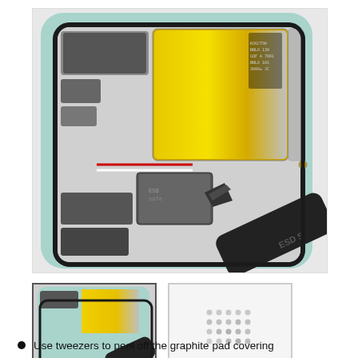[Figure (photo): Close-up photo of an open smartphone showing internal components including a large yellow/gold battery, various connectors and flex cables, with a black ESD-safe spudger/tweezers tool being used to peel off a graphite pad from a component near the center of the device. The phone frame is light blue/mint colored.]
[Figure (photo): Thumbnail of the same smartphone internals photo showing the battery and tweezers tool.]
[Figure (photo): Thumbnail showing a small graphite/thermal pad component on a white background, with a grid-like dot pattern visible on its surface.]
Use tweezers to peel off the graphite pad covering